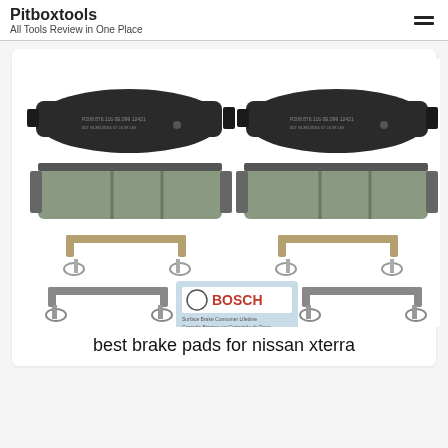Pitboxtools
All Tools Review in One Place
[Figure (photo): Product photo of Bosch brake pads for Nissan Xterra showing two sets of brake pads (front and back views), brake hardware clips, and Bosch branded packaging label]
best brake pads for nissan xterra